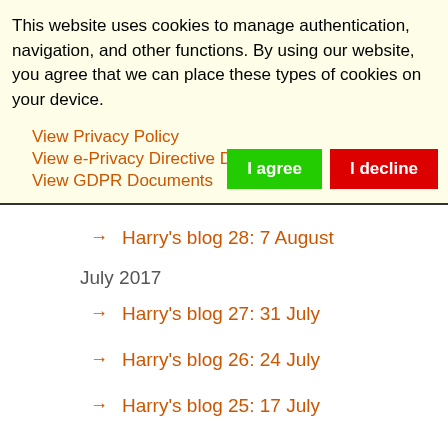This website uses cookies to manage authentication, navigation, and other functions. By using our website, you agree that we can place these types of cookies on your device.
View Privacy Policy
View e-Privacy Directive Documents
View GDPR Documents
→ Harry's blog 28: 7 August
July 2017
→ Harry's blog 27: 31 July
→ Harry's blog 26: 24 July
→ Harry's blog 25: 17 July